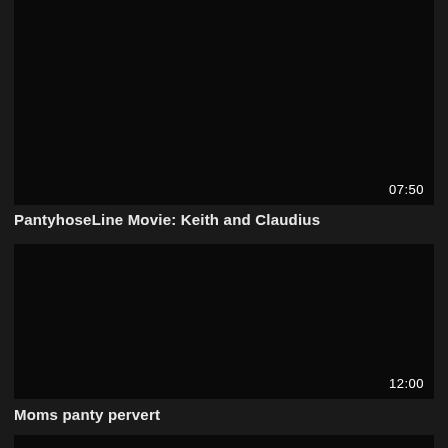[Figure (screenshot): Black video thumbnail with timestamp 07:50 in bottom right corner]
PantyhoseLine Movie: Keith and Claudius
[Figure (screenshot): Black video thumbnail with timestamp 12:00 in bottom right corner]
Moms panty pervert
[Figure (screenshot): Black video thumbnail, partially visible at bottom of page]